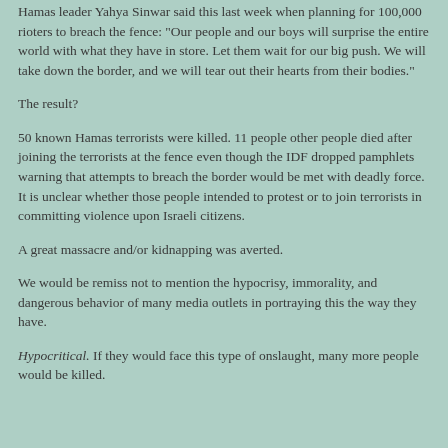Hamas leader Yahya Sinwar said this last week when planning for 100,000 rioters to breach the fence: "Our people and our boys will surprise the entire world with what they have in store. Let them wait for our big push. We will take down the border, and we will tear out their hearts from their bodies."
The result?
50 known Hamas terrorists were killed. 11 people other people died after joining the terrorists at the fence even though the IDF dropped pamphlets warning that attempts to breach the border would be met with deadly force. It is unclear whether those people intended to protest or to join terrorists in committing violence upon Israeli citizens.
A great massacre and/or kidnapping was averted.
We would be remiss not to mention the hypocrisy, immorality, and dangerous behavior of many media outlets in portraying this the way they have.
Hypocritical. If they would face this type of onslaught, many more people would be killed.